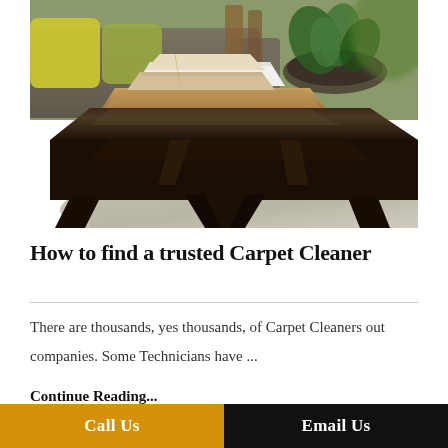[Figure (photo): Interior living room photo showing a dark wooden coffee table with a wooden tray, stacked books, and a decorative bowl with greenery on top. A sofa with yellow/green cushions is visible in the background, along with a light-colored area rug.]
How to find a trusted Carpet Cleaner
There are thousands, yes thousands, of Carpet Cleaners out companies. Some Technicians have ...
Continue Reading...
Call Us    Email Us